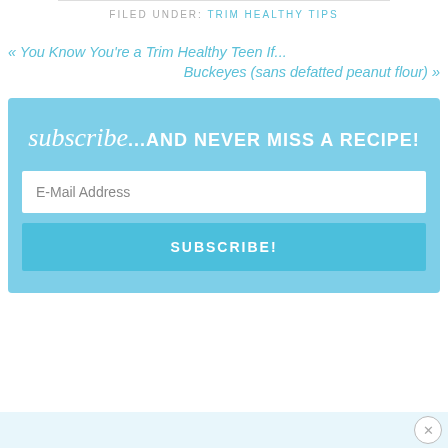FILED UNDER: TRIM HEALTHY TIPS
« You Know You're a Trim Healthy Teen If...
Buckeyes (sans defatted peanut flour) »
subscribe...AND NEVER MISS A RECIPE!
E-Mail Address
SUBSCRIBE!